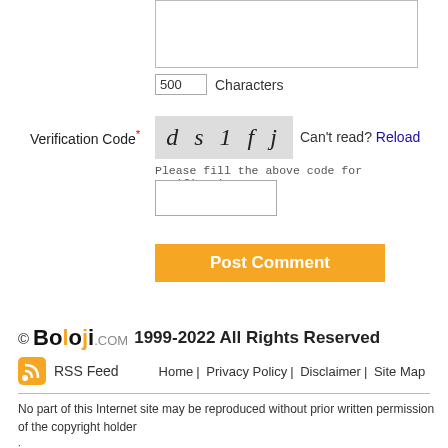[Figure (screenshot): Textarea input box (comment form)]
500 Characters
Verification Code*
[Figure (screenshot): CAPTCHA image showing text: d s 1 f j]
Can't read? Reload
Please fill the above code for verification.
[Figure (screenshot): Verification code input field]
Post Comment
© Boloji.com 1999-2022 All Rights Reserved
RSS Feed  Home | Privacy Policy | Disclaimer | Site Map
No part of this Internet site may be reproduced without prior written permission of the copyright holder
Developed and Programmed by ekant solutions